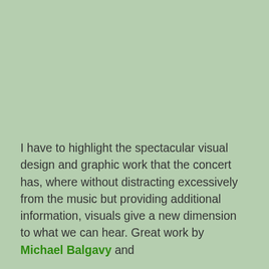I have to highlight the spectacular visual design and graphic work that the concert has, where without distracting excessively from the music but providing additional information, visuals give a new dimension to what we can hear. Great work by Michael Balgavy and